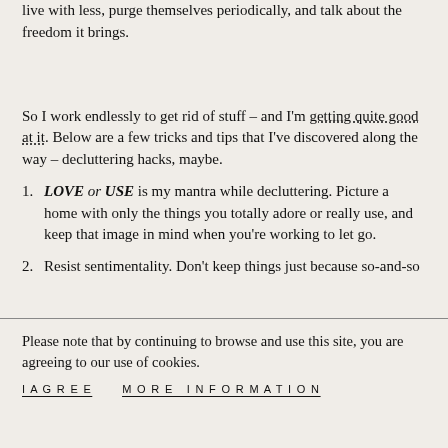live with less, purge themselves periodically, and talk about the freedom it brings.
So I work endlessly to get rid of stuff – and I'm getting quite good at it. Below are a few tricks and tips that I've discovered along the way – decluttering hacks, maybe.
LOVE or USE is my mantra while decluttering. Picture a home with only the things you totally adore or really use, and keep that image in mind when you're working to let go.
Resist sentimentality. Don't keep things just because so-and-so
Please note that by continuing to browse and use this site, you are agreeing to our use of cookies.
I AGREE   MORE INFORMATION